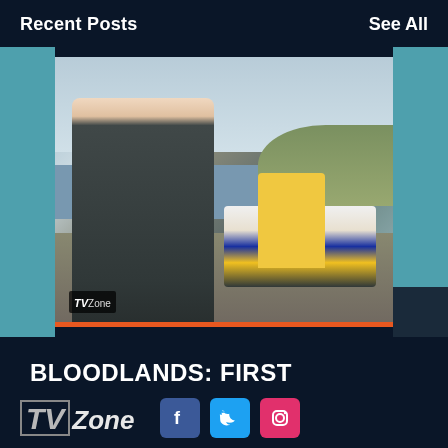Recent Posts    See All
[Figure (photo): A man in a dark coat standing in front of a police car on a rural landscape, with two police officers in high-visibility jackets in the background. TVZone watermark at bottom left. Orange bar at bottom of image.]
BLOODLANDS: FIRST LOOK IMAGES FROM...
[Figure (other): Three pagination dots: first dot is orange/red (active), second and third are grey]
[Figure (logo): TVZone logo with TV in box and Zone text, followed by Facebook, Twitter, and Instagram social media icons]